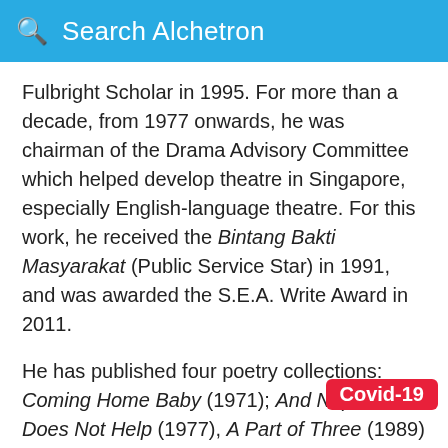Search Alchetron
Fulbright Scholar in 1995. For more than a decade, from 1977 onwards, he was chairman of the Drama Advisory Committee which helped develop theatre in Singapore, especially English-language theatre. For this work, he received the Bintang Bakti Masyarakat (Public Service Star) in 1991, and was awarded the S.E.A. Write Award in 2011.
He has published four poetry collections: Coming Home Baby (1971); And Napalm Does Not Help (1977), A Part of Three (1989) and Leaving Home, Mother (1999) and has been included in several anthologies, including Five Takes (1974).
Covid-19
His venture into novel writing resulted in a solo